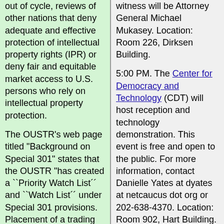out of cycle, reviews of other nations that deny adequate and effective protection of intellectual property rights (IPR) or deny fair and equitable market access to U.S. persons who rely on intellectual property protection.
The OUSTR's web page titled "Background on Special 301" states that the OUSTR "has created a ``Priority Watch List´´ and ``Watch List´´ under Special 301 provisions. Placement of a trading partner on the Priority Watch List or Watch List indicates that particular problems exist in that country with respect to IPR protection, enforcement, or market access for persons relying on intellectual property. Countries placed on the Priority Watch List are the focus of increased
witness will be Attorney General Michael Mukasey. Location: Room 226, Dirksen Building.
5:00 PM. The Center for Democracy and Technology (CDT) will host reception and technology demonstration. This event is free and open to the public. For more information, contact Danielle Yates at dyates at netcaucus dot org or 202-638-4370. Location: Room 902, Hart Building.
6:00 - 9:15 PM. The DC Bar Association will host a continuing legal education (CLE) program titled "How to Recognize Critical Software IP Issues in Everyday Practice". The speaker will be David Temeles (Bean Kinney & Korman). The price to